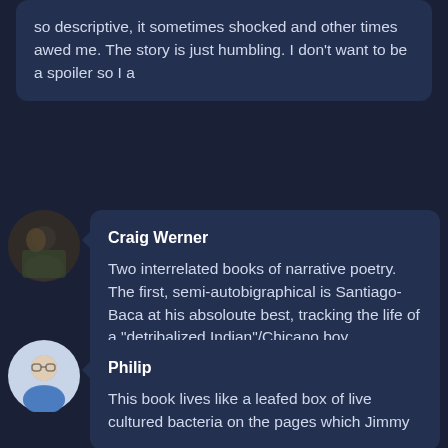so descriptive, it sometimes shocked and other times awed me. The story is just humbling. I don't want to be a spoiler so I a
Craig Werner
Two interrelated books of narrative poetry. The first, semi-autobigraphical is Santiago-Baca at his absoloute best, tracking the life of a "detribalized Indian"/Chicano boy abandoned by his parents, putting his life back together piece by piece. The second, good but not on quiet the same le
Philip
This book lives like a leafed box of live cultured bacteria on the pages which Jimmy